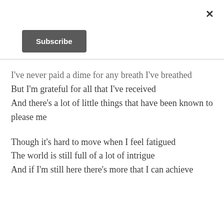Subscribe
I've never paid a dime for any breath I've breathed
But I'm grateful for all that I've received
And there's a lot of little things that have been known to please me

Though it's hard to move when I feel fatigued
The world is still full of a lot of intrigue
And if I'm still here there's more that I can achieve